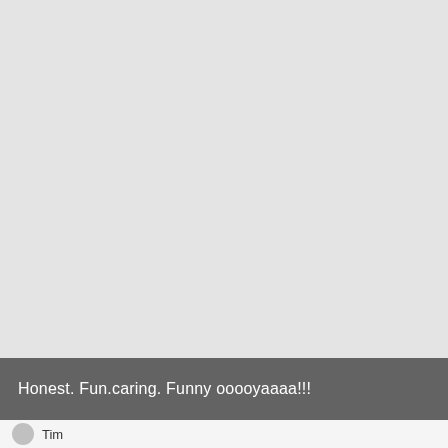[Figure (photo): Large light gray photo area occupying most of the page, appears to be a faded or washed-out image with pinkish tones near top right]
Honest. Fun.caring. Funny ooooyaaaa!!!
Tim